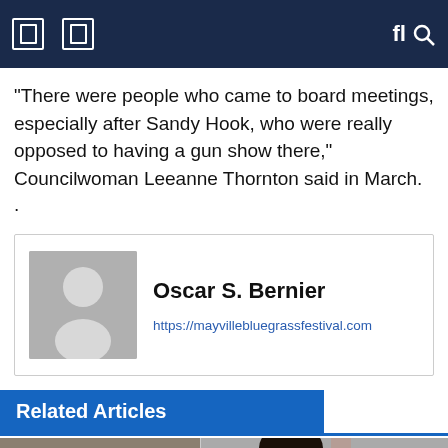Navigation bar with icons
“There were people who came to board meetings, especially after Sandy Hook, who were really opposed to having a gun show there,” Councilwoman Leeanne Thornton said in March.
[Figure (other): Author profile card for Oscar S. Bernier with placeholder avatar image, name in bold, and website link https://mayvillebluegrassfestival.com]
Related Articles
[Figure (photo): Photo strip showing two images side by side: left image with 'COURTESY LEAH WITTENBERG' label overlay, right image showing a person with curly dark hair smiling, with a blue circular button on the right side]